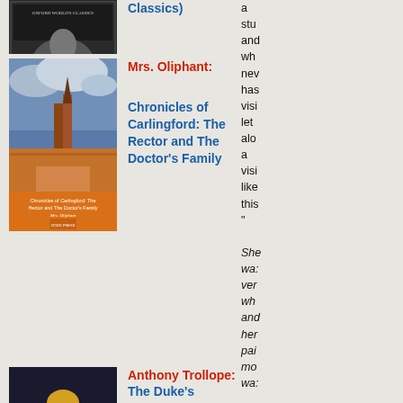[Figure (photo): Partial top book cover - Oxford World's Classics series]
Classics)
[Figure (photo): Book cover: Chronicles of Carlingford: The Rector and The Doctor's Family by Mrs. Oliphant, Dodo Press]
Mrs. Oliphant:
Chronicles of Carlingford: The Rector and The Doctor's Family
a stu and wh nev has visi let alo a visi like this "
[Figure (photo): Book cover: The Duke's Children by Anthony Trollope, Oxford World's Classics]
Anthony Trollope: The Duke's Children (Oxford World's Classics)
She wa: ver wh and her pai mo wa:
[Figure (photo): Partial bottom book cover - orange/red illustrated cover]